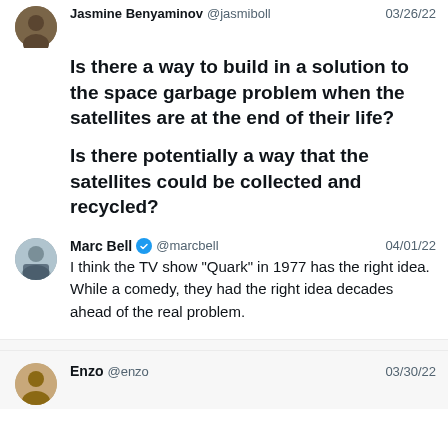Jasmine Benyaminov @jasmiboll 03/26/22
Is there a way to build in a solution to the space garbage problem when the satellites are at the end of their life?

Is there potentially a way that the satellites could be collected and recycled?
Marc Bell @marcbell 04/01/22
I think the TV show "Quark" in 1977 has the right idea. While a comedy, they had the right idea decades ahead of the real problem.
Enzo @enzo 03/30/22